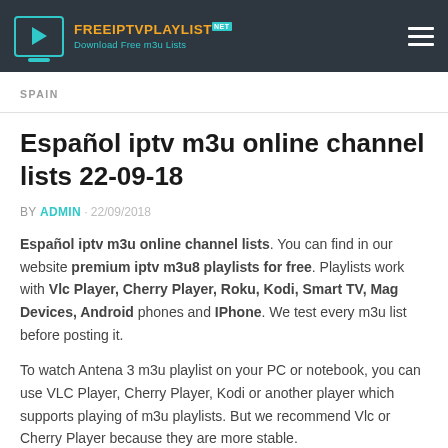FREEIPTVPLAYLIST.net — Download Free m3u Lists
SPAIN
Español iptv m3u online channel lists 22-09-18
BY ADMIN · 22/09/2018
Español iptv m3u online channel lists. You can find in our website premium iptv m3u8 playlists for free. Playlists work with Vlc Player, Cherry Player, Roku, Kodi, Smart TV, Mag Devices, Android phones and IPhone. We test every m3u list before posting it.
To watch Antena 3 m3u playlist on your PC or notebook, you can use VLC Player, Cherry Player, Kodi or another player which supports playing of m3u playlists. But we recommend Vlc or Cherry Player because they are more stable.